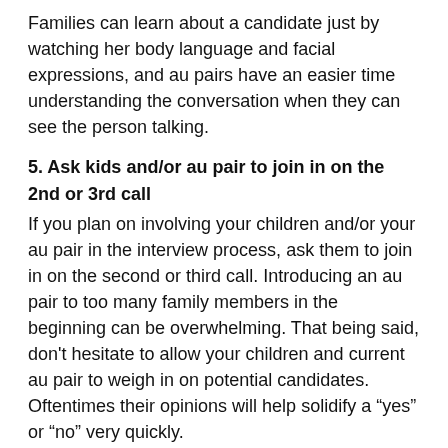Families can learn about a candidate just by watching her body language and facial expressions, and au pairs have an easier time understanding the conversation when they can see the person talking.
5. Ask kids and/or au pair to join in on the 2nd or 3rd call
If you plan on involving your children and/or your au pair in the interview process, ask them to join in on the second or third call. Introducing an au pair to too many family members in the beginning can be overwhelming. That being said, don't hesitate to allow your children and current au pair to weigh in on potential candidates. Oftentimes their opinions will help solidify a “yes” or “no” very quickly.
6. Be positive
No matter what kind of day you’ve had, make sure you’ve got a smile on your face and keep the conversation positive.
7. Speak slowly and avoid slang